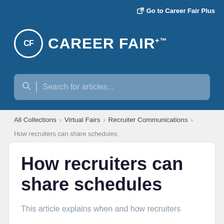Go to Career Fair Plus
[Figure (logo): Career Fair Plus logo with CF circle icon and brand name CAREER FAIR+ with trademark symbol]
Search for articles...
All Collections > Virtual Fairs > Recruiter Communications >
How recruiters can share schedules
How recruiters can share schedules
This article explains when and how recruiters